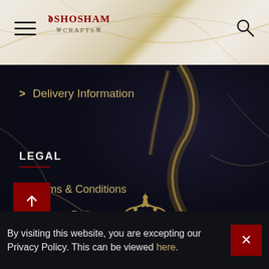[Figure (screenshot): Website header with hamburger menu icon, Shosham Crafts logo, and search icon on a marble texture background]
> Delivery Information
LEGAL
> Terms & Conditions
> Privacy Policy
[Figure (illustration): Gold ornamental crown/tiara design at bottom center of dark marble background]
By visiting this website, you are excepting our Privacy Policy. This can be viewed here.